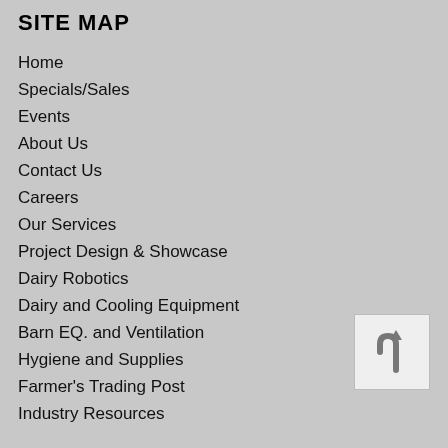SITE MAP
Home
Specials/Sales
Events
About Us
Contact Us
Careers
Our Services
Project Design & Showcase
Dairy Robotics
Dairy and Cooling Equipment
Barn EQ. and Ventilation
Hygiene and Supplies
Farmer's Trading Post
Industry Resources
[Figure (illustration): Back to top arrow button icon — a grey square with a U-turn upward arrow symbol]